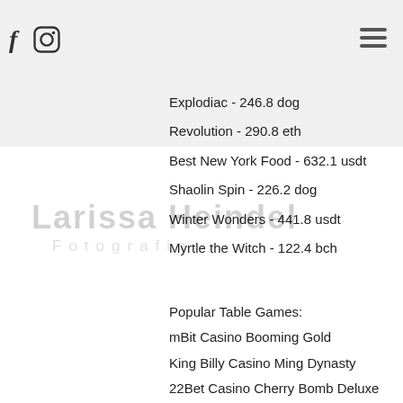Royal Wins - 354.4 ltc
Legends of Greece - 11.9 bch
Xmas Joker - 715.6 bch
Explodiac - 246.8 dog
Revolution - 290.8 eth
Best New York Food - 632.1 usdt
Shaolin Spin - 226.2 dog
Winter Wonders - 441.8 usdt
Myrtle the Witch - 122.4 bch
Popular Table Games:
mBit Casino Booming Gold
King Billy Casino Ming Dynasty
22Bet Casino Cherry Bomb Deluxe
Bitcoin Penguin Casino Four by Four
22Bet Casino Magic Portals
Mars Casino Mad Scientist
CryptoGames Dogfather
CryptoGames Golden Lamp
Sportsbet.io Wuxia Princess